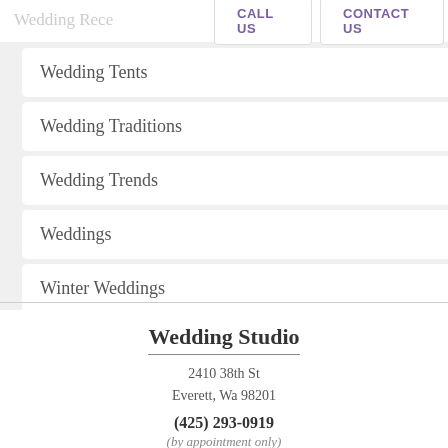Wedding Rece... | CALL US | CONTACT US
Wedding Tents
Wedding Traditions
Wedding Trends
Weddings
Winter Weddings
Wedding Studio
2410 38th St
Everett, Wa 98201
(425) 293-0919
(by appointment only)